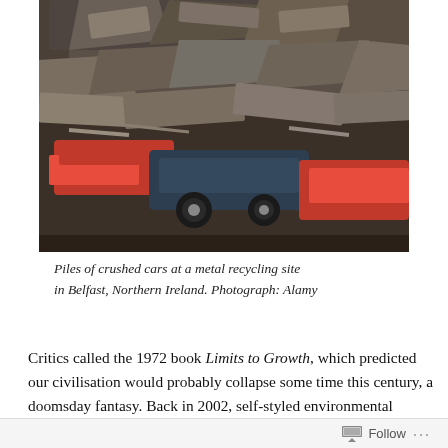[Figure (photo): Piles of crushed and stacked cars at a metal recycling site, showing heavily compacted scrap vehicles in various colors including red and blue, photographed outdoors.]
Piles of crushed cars at a metal recycling site in Belfast, Northern Ireland. Photograph: Alamy
Critics called the 1972 book Limits to Growth, which predicted our civilisation would probably collapse some time this century, a doomsday fantasy. Back in 2002, self-styled environmental expert Bjorn Lomborg consigned it to the “dustbin of history.”
It doesn’t belong there. Research from the University of Melbourne has found the book’s forecasts are accurate,
Follow ...